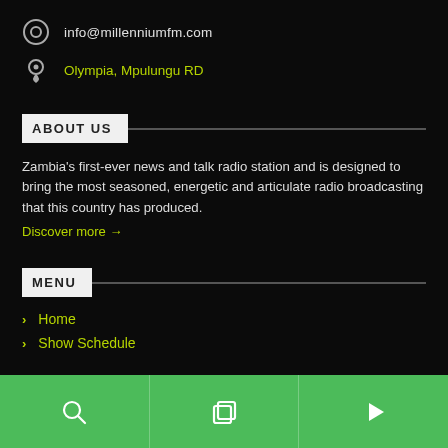info@millenniumfm.com
Olympia, Mpulungu RD
ABOUT US
Zambia's first-ever news and talk radio station and is designed to bring the most seasoned, energetic and articulate radio broadcasting that this country has produced.
Discover more →
MENU
Home
Show Schedule